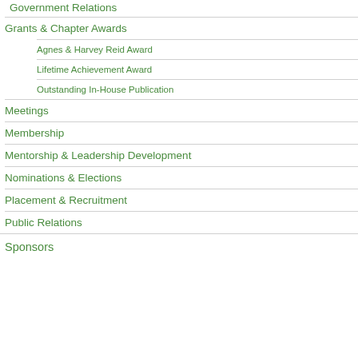Government Relations
Grants & Chapter Awards
Agnes & Harvey Reid Award
Lifetime Achievement Award
Outstanding In-House Publication
Meetings
Membership
Mentorship & Leadership Development
Nominations & Elections
Placement & Recruitment
Public Relations
Sponsors